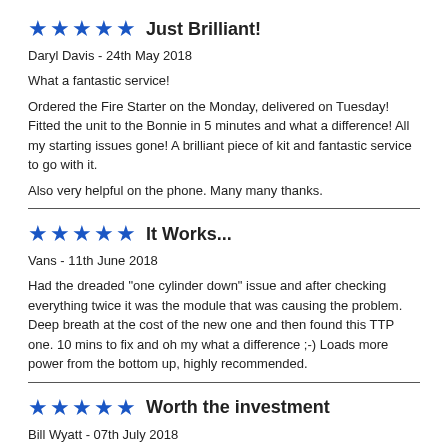Just Brilliant!
Daryl Davis - 24th May 2018
What a fantastic service!
Ordered the Fire Starter on the Monday, delivered on Tuesday! Fitted the unit to the Bonnie in 5 minutes and what a difference! All my starting issues gone! A brilliant piece of kit and fantastic service to go with it.

Also very helpful on the phone. Many many thanks.
It Works...
Vans - 11th June 2018
Had the dreaded "one cylinder down" issue and after checking everything twice it was the module that was causing the problem. Deep breath at the cost of the new one and then found this TTP one. 10 mins to fix and oh my what a difference ;-) Loads more power from the bottom up, highly recommended.
Worth the investment
Bill Wyatt - 07th July 2018